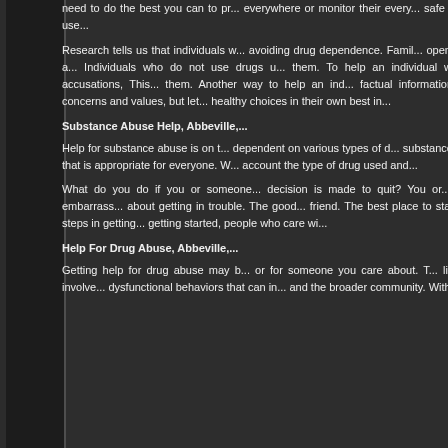need to do the best you can to pr... everywhere or monitor their every... safe from the pressures of drug use...
Research tells us that individuals w... avoiding drug dependence. Famil... openly about their feelings, and a... Individuals who do not use drugs u... them. To help an individual who m... make unfounded accusations, This... them. Another way to help an ind... factual information about the numer... your concerns and values, but let... healthy choices in their own best in...
Substance Abuse Help, Abbeville...
Help for substance abuse is on t... dependent on various types of d... substance can be effectively treate... that is appropriate for everyone. W... account the type of drug used and...
What do you do if you or someone... decision is made to quit? You or... getting help but are too embarrass... about getting in trouble. The good... friend. The best place to start is by... is one of the first steps in getting... getting started, people who care wi...
Help For Drug Abuse, Abbeville,...
Getting help for drug abuse may b... or for someone you care about. T... life. Their drug abuse often involve... dysfunctional behaviors that can in... and the broader community. With...